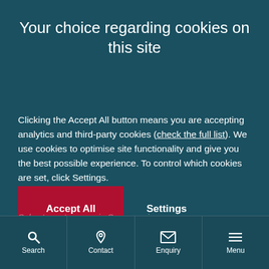Your choice regarding cookies on this site
Clicking the Accept All button means you are accepting analytics and third-party cookies (check the full list). We use cookies to optimise site functionality and give you the best possible experience. To control which cookies are set, click Settings.
Accept All
Settings
Search | Contact | Enquiry | Menu